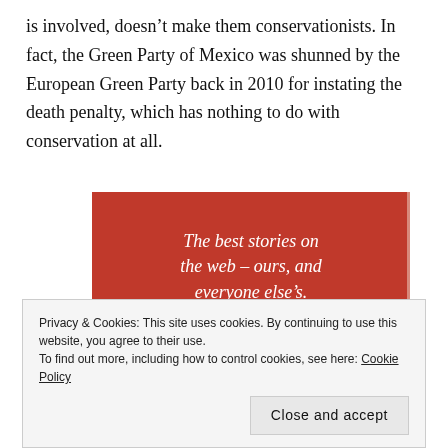is involved, doesn't make them conservationists. In fact, the Green Party of Mexico was shunned by the European Green Party back in 2010 for instating the death penalty, which has nothing to do with conservation at all.
[Figure (infographic): Red advertisement banner with white italic text reading 'The best stories on the web – ours, and everyone else's.' with a black 'Start reading' button.]
Privacy & Cookies: This site uses cookies. By continuing to use this website, you agree to their use.
To find out more, including how to control cookies, see here: Cookie Policy